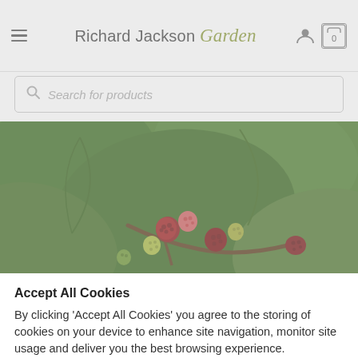Richard Jackson Garden
Search for products
[Figure (photo): Close-up photograph of mulberries and large green leaves on a plant, showing berries at various stages of ripeness from green-yellow to deep red.]
Accept All Cookies
By clicking 'Accept All Cookies' you agree to the storing of cookies on your device to enhance site navigation, monitor site usage and deliver you the best browsing experience.
Accept All Cookies
Customise